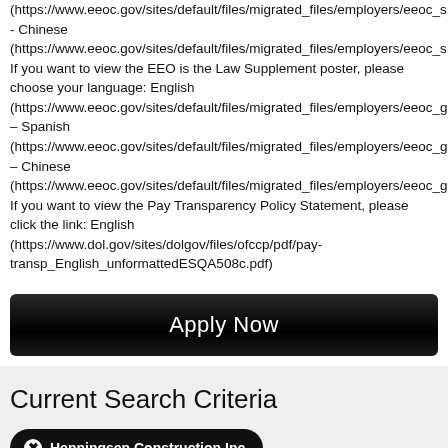(https://www.eeoc.gov/sites/default/files/migrated_files/employers/eeoc_s
- Chinese
(https://www.eeoc.gov/sites/default/files/migrated_files/employers/eeoc_s
If you want to view the EEO is the Law Supplement poster, please choose your language: English
(https://www.eeoc.gov/sites/default/files/migrated_files/employers/eeoc_g
– Spanish
(https://www.eeoc.gov/sites/default/files/migrated_files/employers/eeoc_g
– Chinese
(https://www.eeoc.gov/sites/default/files/migrated_files/employers/eeoc_g
If you want to view the Pay Transparency Policy Statement, please click the link: English
(https://www.dol.gov/sites/dolgov/files/ofccp/pdf/pay-transp_English_unformattedESQA508c.pdf)
Apply Now
Current Search Criteria
Henningsen Construction Inc